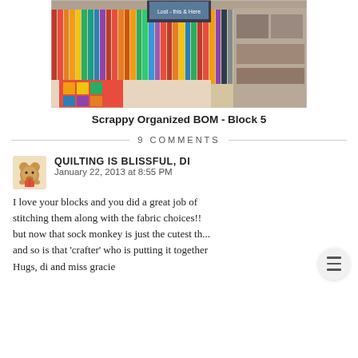[Figure (photo): Photo of a quilt/fabric shop showing colorful fabric bolts standing upright in rows, with quilts displayed in the foreground and store merchandise in the background.]
Scrappy Organized BOM - Block 5
9 COMMENTS
QUILTING IS BLISSFUL, DI
January 22, 2013 at 8:55 PM
I love your blocks and you did a great job of stitching them along with the fabric choices!! but now that sock monkey is just the cutest th... and so is that 'crafter' who is putting it together Hugs, di and miss gracie